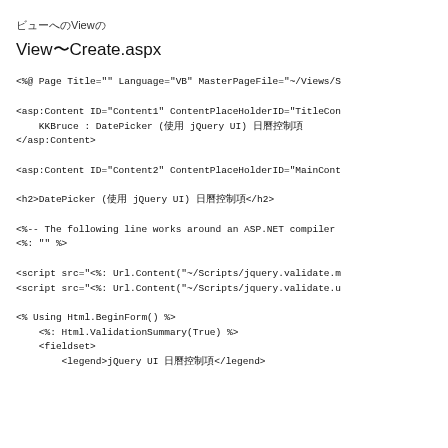ビューへのViewの
View〜Create.aspx
<%@ Page Title="" Language="VB" MasterPageFile="~/Views/S

<asp:Content ID="Content1" ContentPlaceHolderID="TitleCon
    KKBruce : DatePicker (使用 jQuery UI) 日曆控制項
</asp:Content>

<asp:Content ID="Content2" ContentPlaceHolderID="MainCont

<h2>DatePicker (使用 jQuery UI) 日曆控制項</h2>

<%-- The following line works around an ASP.NET compiler
<%: "" %>

<script src="<%: Url.Content("~/Scripts/jquery.validate.m
<script src="<%: Url.Content("~/Scripts/jquery.validate.u

<% Using Html.BeginForm() %>
    <%: Html.ValidationSummary(True) %>
    <fieldset>
        <legend>jQuery UI 日曆控制項</legend>